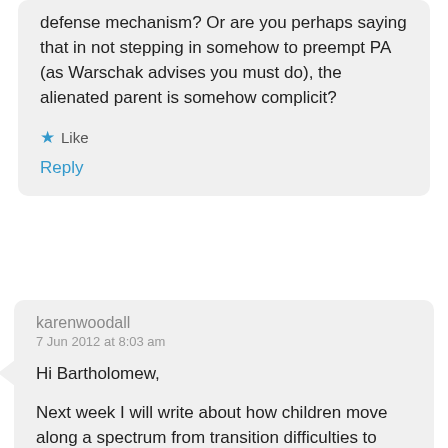defense mechanism? Or are you perhaps saying that in not stepping in somehow to preempt PA (as Warschak advises you must do), the alienated parent is somehow complicit?
★ Like
Reply
karenwoodall
7 Jun 2012 at 8:03 am
Hi Bartholomew,
Next week I will write about how children move along a spectrum from transition difficulties to